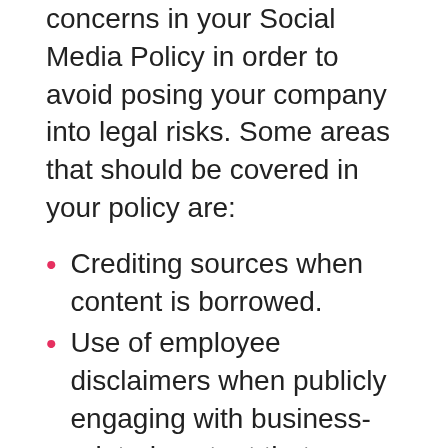concerns in your Social Media Policy in order to avoid posing your company into legal risks. Some areas that should be covered in your policy are:
Crediting sources when content is borrowed.
Use of employee disclaimers when publicly engaging with business-related content that identifies them as an employee.
Privacy and Disclosure procedures to define confidential, non-shareable business information.
Another frequent risk of social media is a security risk. Employees on social media